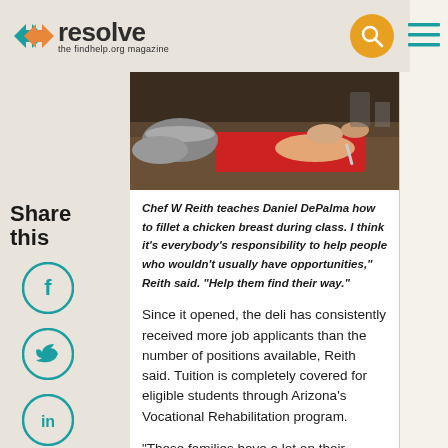resolve – the findhelp.org magazine
[Figure (photo): Person cutting/filleting chicken breast on a red cutting board with metal bowls visible in the background]
Chef W Reith teaches Daniel DePalma how to fillet a chicken breast during class. I think it's everybody's responsibility to help people who wouldn't usually have opportunities," Reith said. "Help them find their way."
Since it opened, the deli has consistently received more job applicants than the number of positions available, Reith said. Tuition is completely covered for eligible students through Arizona's Vocational Rehabilitation program.
"These families have a lot on their plates. It's expensive — therapies, doctors, what